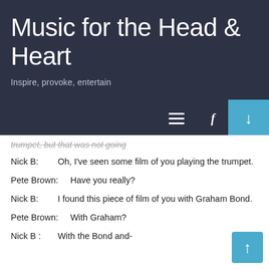Music for the Head & Heart
Inspire, provoke, entertain
trumpet, but that was not going
Nick B:	Oh, I've seen some film of you playing the trumpet.
Pete Brown:	Have you really?
Nick B:	I found this piece of film of you with Graham Bond.
Pete Brown:	With Graham?
Nick B :	With the Bond and-